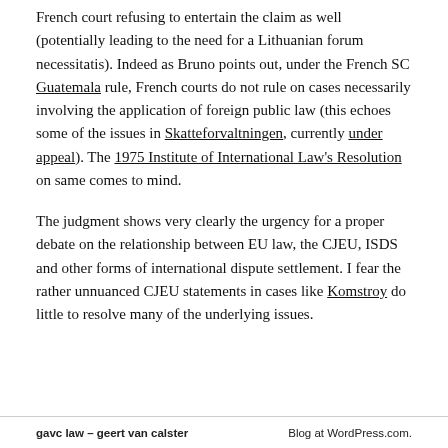French court refusing to entertain the claim as well (potentially leading to the need for a Lithuanian forum necessitatis). Indeed as Bruno points out, under the French SC Guatemala rule, French courts do not rule on cases necessarily involving the application of foreign public law (this echoes some of the issues in Skatteforvaltningen, currently under appeal). The 1975 Institute of International Law's Resolution on same comes to mind.
The judgment shows very clearly the urgency for a proper debate on the relationship between EU law, the CJEU, ISDS and other forms of international dispute settlement. I fear the rather unnuanced CJEU statements in cases like Komstroy do little to resolve many of the underlying issues.
gavclaw – geert van calster   Blog at WordPress.com.